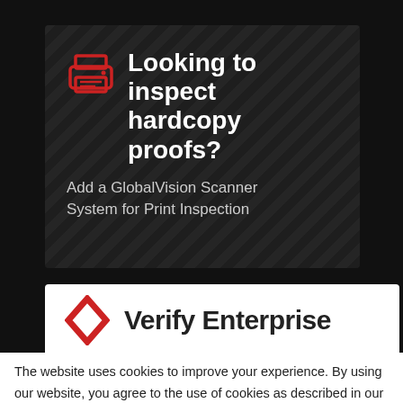[Figure (illustration): Dark banner with diagonal stripes, printer icon in red outline, heading 'Looking to inspect hardcopy proofs?' and subtext 'Add a GlobalVision Scanner System for Print Inspection']
[Figure (logo): White card with red diamond logo and 'Verify Enterprise' text in bold]
The website uses cookies to improve your experience. By using our website, you agree to the use of cookies as described in our
Privacy Policy | OK